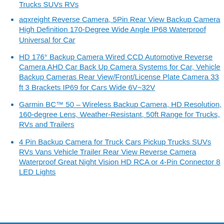Trucks SUVs RVs
aqxreight Reverse Camera, 5Pin Rear View Backup Camera High Definition 170-Degree Wide Angle IP68 Waterproof Universal for Car
HD 176° Backup Camera Wired CCD Automotive Reverse Camera AHD Car Back Up Camera Systems for Car, Vehicle Backup Cameras Rear View/Front/License Plate Camera 33 ft 3 Brackets IP69 for Cars Wide 6V~32V
Garmin BC™ 50 – Wireless Backup Camera, HD Resolution, 160-degree Lens, Weather-Resistant, 50ft Range for Trucks, RVs and Trailers
4 Pin Backup Camera for Truck Cars Pickup Trucks SUVs RVs Vans Vehicle Trailer Rear View Reverse Camera Waterproof Great Night Vision HD RCA or 4-Pin Connector 8 LED Lights